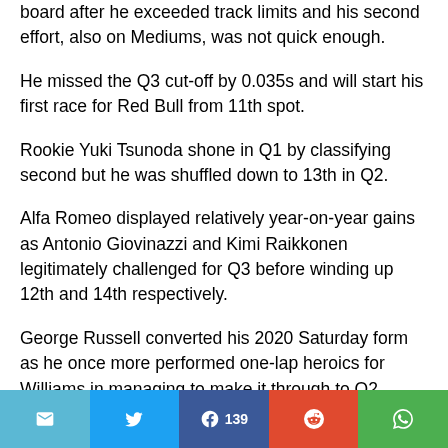board after he exceeded track limits and his second effort, also on Mediums, was not quick enough.
He missed the Q3 cut-off by 0.035s and will start his first race for Red Bull from 11th spot.
Rookie Yuki Tsunoda shone in Q1 by classifying second but he was shuffled down to 13th in Q2.
Alfa Romeo displayed relatively year-on-year gains as Antonio Giovinazzi and Kimi Raikkonen legitimately challenged for Q3 before winding up 12th and 14th respectively.
George Russell converted his 2020 Saturday form as he once more performed one-lap heroics for Williams in managing to make it through to Q2.
Email | Twitter | Facebook 139 | Reddit | WhatsApp